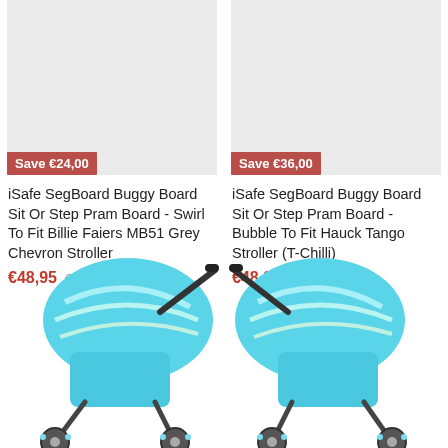[Figure (photo): Grey placeholder product image for iSafe SegBoard Buggy Board Swirl to fit Billie Faiers MB51 Grey Chevron Stroller with Save €24,00 badge]
iSafe SegBoard Buggy Board Sit Or Step Pram Board - Swirl To Fit Billie Faiers MB51 Grey Chevron Stroller
€48,95  €72,95
[Figure (photo): Grey placeholder product image for iSafe SegBoard Buggy Board Bubble to fit Hauck Tango Stroller (T-Chilli) with Save €36,00 badge]
iSafe SegBoard Buggy Board Sit Or Step Pram Board - Bubble To Fit Hauck Tango Stroller (T-Chilli)
€48,95  €84,95
[Figure (photo): Blue stroller / buggy board product photo, left side, partially cropped at bottom of page]
[Figure (photo): Blue stroller / buggy board product photo, right side, partially cropped at bottom of page]